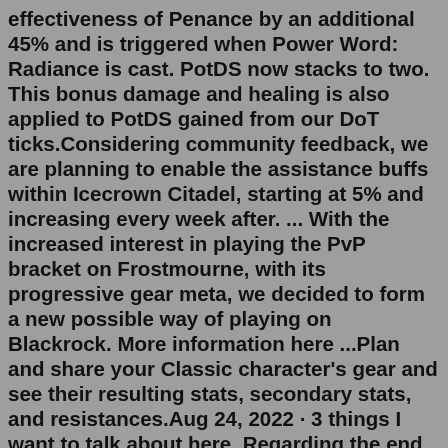effectiveness of Penance by an additional 45% and is triggered when Power Word: Radiance is cast. PotDS now stacks to two. This bonus damage and healing is also applied to PotDS gained from our DoT ticks.Considering community feedback, we are planning to enable the assistance buffs within Icecrown Citadel, starting at 5% and increasing every week after. ... With the increased interest in playing the PvP bracket on Frostmourne, with its progressive gear meta, we decided to form a new possible way of playing on Blackrock. More information here ...Plan and share your Classic character's gear and see their resulting stats, secondary stats, and resistances.Aug 24, 2022 · 3 things I want to talk about here. Regarding the end of seasons rewards not being adjusted to reflect player bans and team disqualifications, see my thread here. Should we expect this issue to repeat at the end of this season and in future WotLK seasons? Arena gear rating requirements. How is this going to be handled? TBCC pvps participation cycles and the percentage of